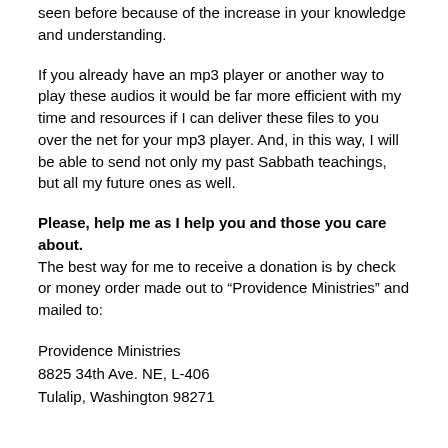seen before because of the increase in your knowledge and understanding.
If you already have an mp3 player or another way to play these audios it would be far more efficient with my time and resources if I can deliver these files to you over the net for your mp3 player. And, in this way, I will be able to send not only my past Sabbath teachings, but all my future ones as well.
Please, help me as I help you and those you care about. The best way for me to receive a donation is by check or money order made out to “Providence Ministries” and mailed to:
Providence Ministries
8825 34th Ave. NE, L-406
Tulalip, Washington 98271